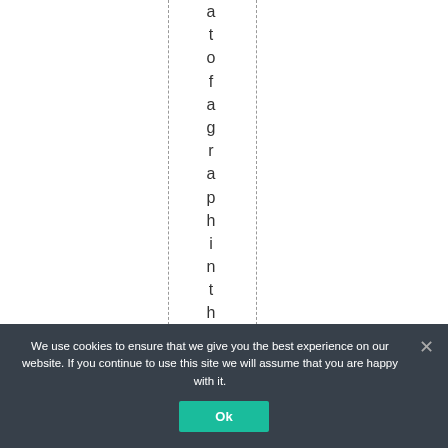[Figure (other): Partial page with vertical text spelling 'at of a graph in the pos' stacked letter by letter in a center column, flanked by two dashed vertical lines]
We use cookies to ensure that we give you the best experience on our website. If you continue to use this site we will assume that you are happy with it.